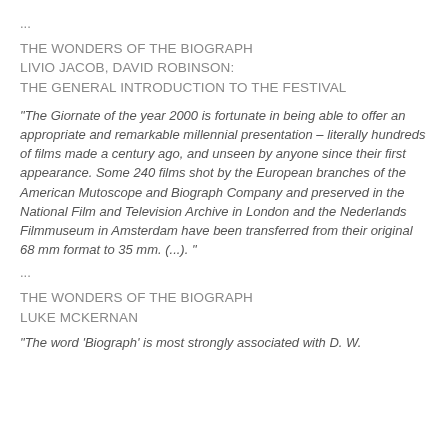...
THE WONDERS OF THE BIOGRAPH
LIVIO JACOB, DAVID ROBINSON:
THE GENERAL INTRODUCTION TO THE FESTIVAL
"The Giornate of the year 2000 is fortunate in being able to offer an appropriate and remarkable millennial presentation – literally hundreds of films made a century ago, and unseen by anyone since their first appearance. Some 240 films shot by the European branches of the American Mutoscope and Biograph Company and preserved in the National Film and Television Archive in London and the Nederlands Filmmuseum in Amsterdam have been transferred from their original 68 mm format to 35 mm. (...). "
...
THE WONDERS OF THE BIOGRAPH
LUKE MCKERNAN
"The word 'Biograph' is most strongly associated with D. W.